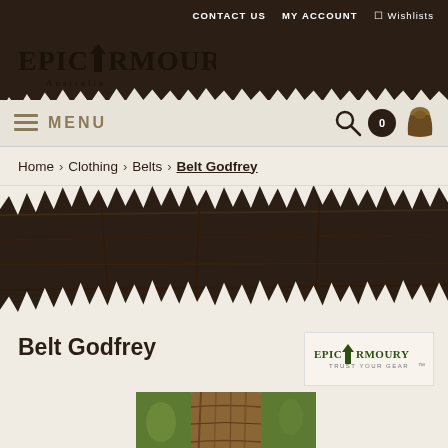CONTACT US   MY ACCOUNT   Wishlists
[Figure (logo): Epic Armoury Australia logo - stylized text with shield/arrow motif]
≡  MENU
Home › Clothing › Belts › Belt Godfrey
[Figure (illustration): Decorative torn paper effect revealing dark wood texture background with snow]
Belt Godfrey
[Figure (logo): Epic Armoury Trust Your Gear brand logo]
[Figure (photo): Product photo showing a tree trunk in a forest setting, partial view of Belt Godfrey product]